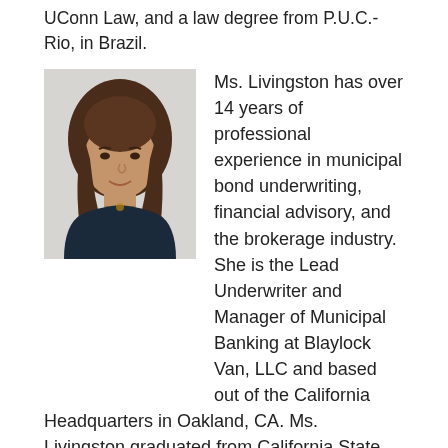UConn Law, and a law degree from P.U.C.- Rio, in Brazil.
[Figure (photo): Headshot photo of Ms. Livingston, a woman with long brown hair wearing a dark blazer, against a light background.]
Ms. Livingston has over 14 years of professional experience in municipal bond underwriting, financial advisory, and the brokerage industry. She is the Lead Underwriter and Manager of Municipal Banking at Blaylock Van, LLC and based out of the California Headquarters in Oakland, CA. Ms. Livingston graduated from California State University Long Beach with a Bachelor of Arts and holds her FINRA Series 7, 63, 50 and 53.
**Disclaimer**
This article was prepared exclusively for Blaylock Van